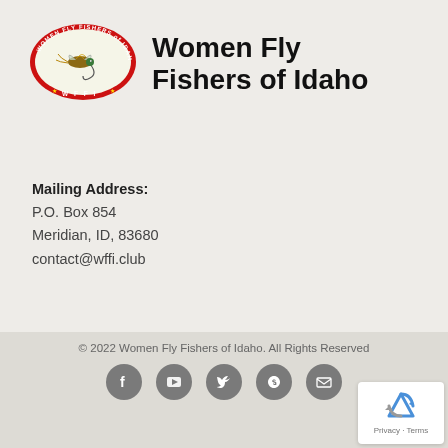[Figure (logo): Women Fly Fishers of Idaho oval logo with red border, fly fishing lure image, and WFFI text]
Women Fly Fishers of Idaho
Mailing Address:
P.O. Box 854
Meridian, ID, 83680
contact@wffi.club
© 2022 Women Fly Fishers of Idaho. All Rights Reserved
[Figure (other): Social media icons: Facebook, YouTube, Twitter, Skype, Email]
[Figure (other): reCAPTCHA badge with Privacy and Terms links]